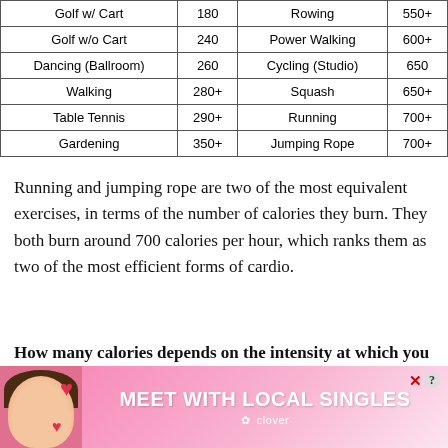| Activity | Calories/hr | Activity | Calories/hr |
| --- | --- | --- | --- |
| Golf w/ Cart | 180 | Rowing | 550+ |
| Golf w/o Cart | 240 | Power Walking | 600+ |
| Dancing (Ballroom) | 260 | Cycling (Studio) | 650 |
| Walking | 280+ | Squash | 650+ |
| Table Tennis | 290+ | Running | 700+ |
| Gardening | 350+ | Jumping Rope | 700+ |
Running and jumping rope are two of the most equivalent exercises, in terms of the number of calories they burn. They both burn around 700 calories per hour, which ranks them as two of the most efficient forms of cardio.
How many calories depends on the intensity at which you jump rope or run. This goes for any cardiovascular exercise. You get out what you put
[Figure (infographic): Advertisement banner: pink gradient background with photo of smiling woman with headset, hearts, text 'MEET WITH LOCAL SINGLES' and clover logo]